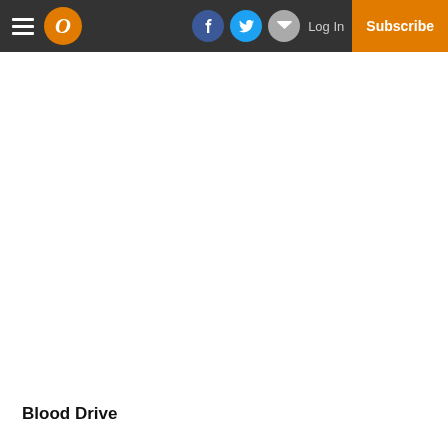Navigation bar with hamburger menu, logo O, Facebook, Twitter, Email social icons, Log In, Subscribe
Subscribe to our email newsletter
email address
Subscribe
Blood Drive